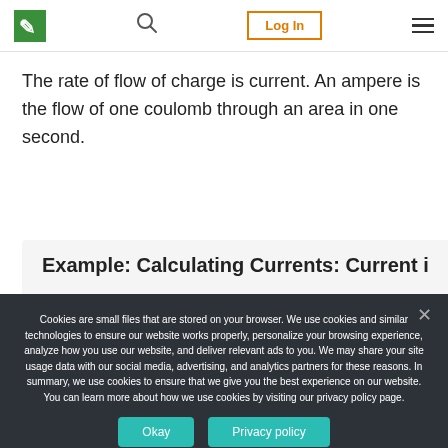Logo | Search | Log In | Menu
The rate of flow of charge is current. An ampere is the flow of one coulomb through an area in one second.
Example: Calculating Currents: Current in a
Cookies are small files that are stored on your browser. We use cookies and similar technologies to ensure our website works properly, personalize your browsing experience, analyze how you use our website, and deliver relevant ads to you. We may share your site usage data with our social media, advertising, and analytics partners for these reasons. In summary, we use cookies to ensure that we give you the best experience on our website. You can learn more about how we use cookies by visiting our privacy policy page.